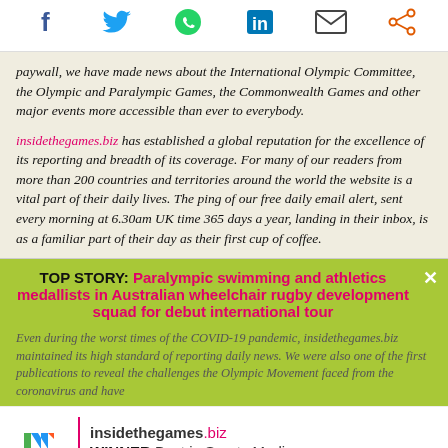[Figure (other): Social media sharing icons: Facebook, Twitter, WhatsApp, LinkedIn, Email, Share]
paywall, we have made news about the International Olympic Committee, the Olympic and Paralympic Games, the Commonwealth Games and other major events more accessible than ever to everybody.
insidethegames.biz has established a global reputation for the excellence of its reporting and breadth of its coverage. For many of our readers from more than 200 countries and territories around the world the website is a vital part of their daily lives. The ping of our free daily email alert, sent every morning at 6.30am UK time 365 days a year, landing in their inbox, is as a familiar part of their day as their first cup of coffee.
TOP STORY: Paralympic swimming and athletics medallists in Australian wheelchair rugby development squad for debut international tour
Even during the worst times of the COVID-19 pandemic, insidethegames.biz maintained its high standard of reporting daily news. We were also one of the first publications to reveal the challenges the Olympic Movement faced from the coronavirus and have
[Figure (logo): Sports Business Awards 2017 logo with insidethegames.biz WINNER Best in Sports Media]
insidethegames.biz would like to invite you to help us on our